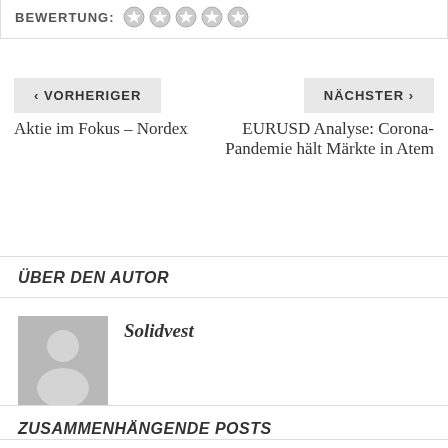BEWERTUNG: ☆☆☆☆☆
< VORHERIGER
NÄCHSTER >
Aktie im Fokus – Nordex
EURUSD Analyse: Corona-Pandemie hält Märkte in Atem
ÜBER DEN AUTOR
[Figure (illustration): Generic user avatar placeholder (grey silhouette on grey background)]
Solidvest
ZUSAMMENHÄNGENDE POSTS